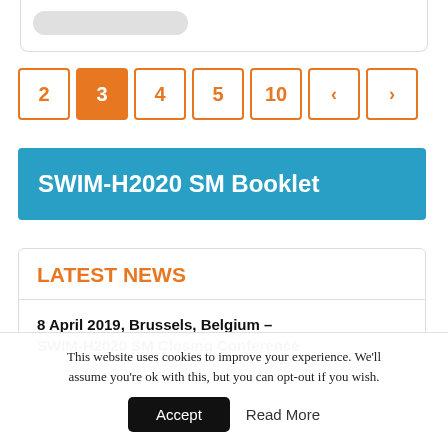[Figure (screenshot): Top portion of a web page card with a rounded pill/tag element visible]
2
3
4
5
10
<
>
SWIM-H2020 SM Booklet
LATEST NEWS
8 April 2019, Brussels, Belgium – SWIM-H2020 SM Closing Conference
This website uses cookies to improve your experience. We'll assume you're ok with this, but you can opt-out if you wish.
Accept   Read More